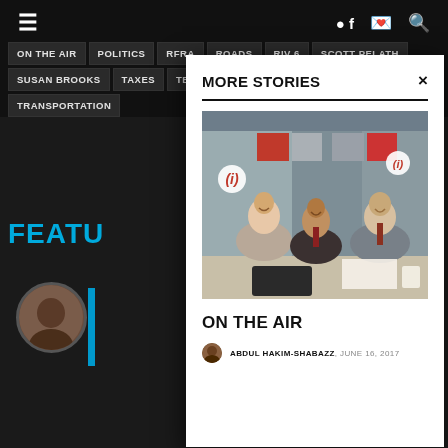ON THE AIR | POLITICS | RFRA | ROADS | RIV 6 | SCOTT PELATH | SUSAN BROOKS | TAXES | TEACHER PAY | TODD ROKITA | TODD YOUNG | TRANSPORTATION
FEATU
MORE STORIES
[Figure (photo): Three people seated at a table in a TV studio with red, grey, and blue acoustic panels behind them and an (i) logo visible. Two women and one man smiling.]
ON THE AIR
ABDUL HAKIM-SHABAZZ, JUNE 16, 2017